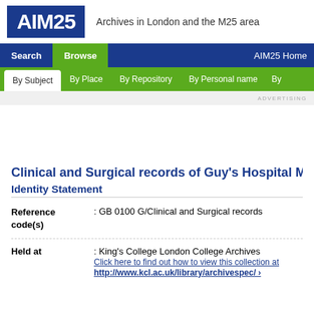[Figure (logo): AIM25 logo with blue background and white text, with tagline 'Archives in London and the M25 area']
Search | Browse | AIM25 Home | By Subject | By Place | By Repository | By Personal name | By
Clinical and Surgical records of Guy's Hospital M
Identity Statement
| Field | Value |
| --- | --- |
| Reference code(s) | : GB 0100 G/Clinical and Surgical records |
| Held at | : King's College London College Archives
Click here to find out how to view this collection at
http://www.kcl.ac.uk/library/archivespec/ › |